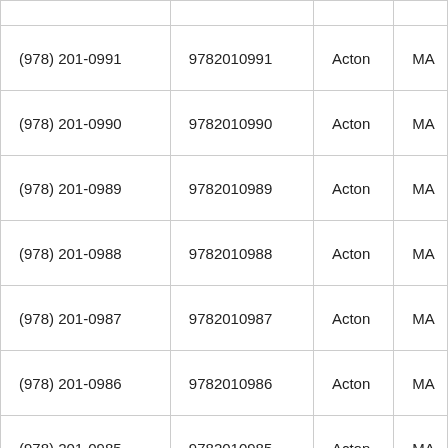| (978) 201-0991 | 9782010991 | Acton | MA |
| (978) 201-0990 | 9782010990 | Acton | MA |
| (978) 201-0989 | 9782010989 | Acton | MA |
| (978) 201-0988 | 9782010988 | Acton | MA |
| (978) 201-0987 | 9782010987 | Acton | MA |
| (978) 201-0986 | 9782010986 | Acton | MA |
| (978) 201-0985 | 9782010985 | Acton | MA |
| (978) 201-0984 | 9782010984 | Acton | MA |
| (978) 201-0983 | 9782010983 | Acton | MA |